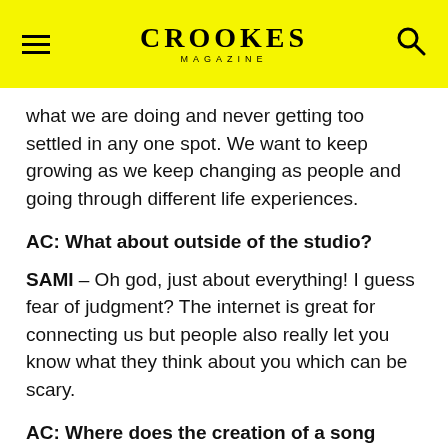CROOKES MAGAZINE
what we are doing and never getting too settled in any one spot. We want to keep growing as we keep changing as people and going through different life experiences.
AC: What about outside of the studio?
SAMI – Oh god, just about everything! I guess fear of judgment? The internet is great for connecting us but people also really let you know what they think about you which can be scary.
AC: Where does the creation of a song begin for you?
SAMI – I guess it all starts with an idea...